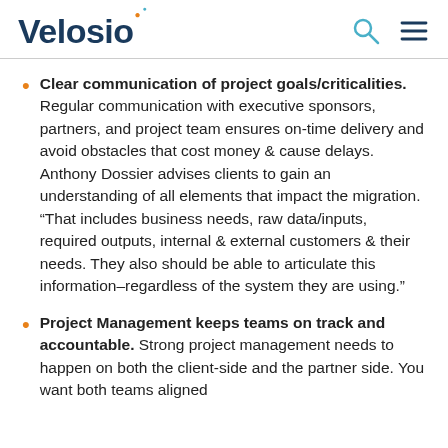Velosio
Clear communication of project goals/criticalities. Regular communication with executive sponsors, partners, and project team ensures on-time delivery and avoid obstacles that cost money & cause delays. Anthony Dossier advises clients to gain an understanding of all elements that impact the migration. “That includes business needs, raw data/inputs, required outputs, internal & external customers & their needs. They also should be able to articulate this information–regardless of the system they are using.”
Project Management keeps teams on track and accountable. Strong project management needs to happen on both the client-side and the partner side. You want both teams aligned